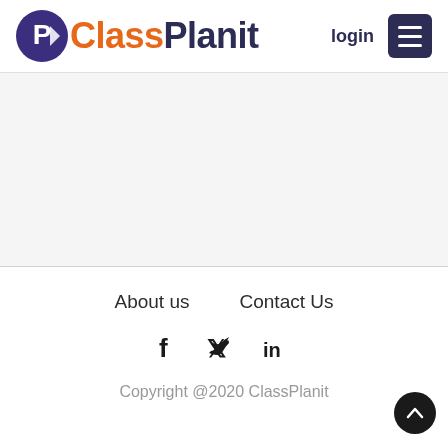ClassPlanit login
[Figure (other): Main content area, mostly empty gray/white background]
About us   Contact Us
[Figure (other): Social media icons: Facebook, Twitter, LinkedIn]
Copyright @2020 ClassPlanit